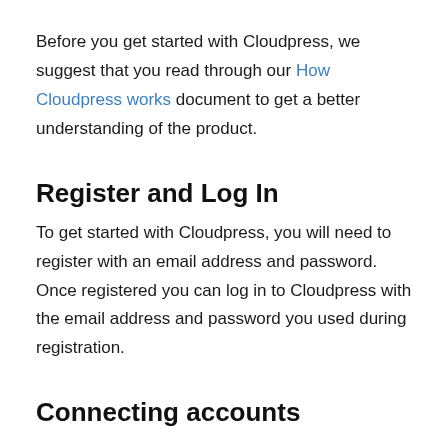Before you get started with Cloudpress, we suggest that you read through our How Cloudpress works document to get a better understanding of the product.
Register and Log In
To get started with Cloudpress, you will need to register with an email address and password. Once registered you can log in to Cloudpress with the email address and password you used during registration.
Connecting accounts